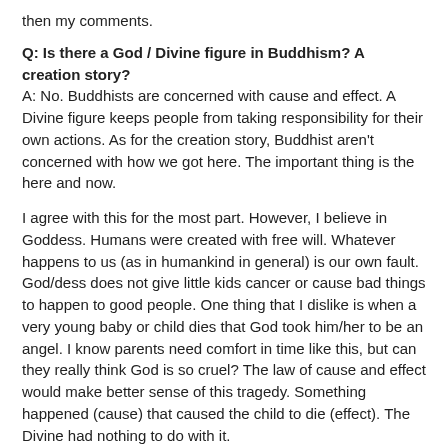then my comments.
Q: Is there a God / Divine figure in Buddhism? A creation story?
A: No. Buddhists are concerned with cause and effect. A Divine figure keeps people from taking responsibility for their own actions. As for the creation story, Buddhist aren't concerned with how we got here. The important thing is the here and now.
I agree with this for the most part. However, I believe in Goddess. Humans were created with free will. Whatever happens to us (as in humankind in general) is our own fault. God/dess does not give little kids cancer or cause bad things to happen to good people. One thing that I dislike is when a very young baby or child dies that God took him/her to be an angel. I know parents need comfort in time like this, but can they really think God is so cruel? The law of cause and effect would make better sense of this tragedy. Something happened (cause) that caused the child to die (effect). The Divine had nothing to do with it.